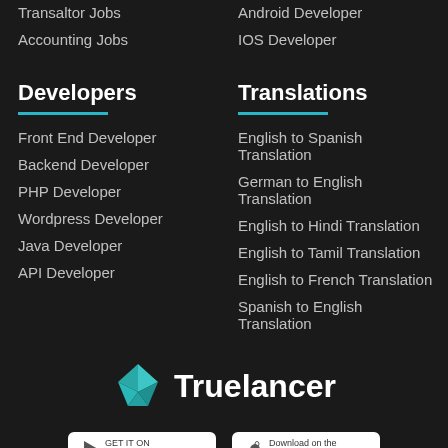Transaltor Jobs
Android Developer
Accounting Jobs
IOS Developer
Developers
Translations
Front End Developer
English to Spanish Translation
Backend Developer
German to English Translation
PHP Developer
English to Hindi Translation
Wordpress Developer
English to Tamil Translation
Java Developer
English to French Translation
API Developer
Spanish to English Translation
[Figure (logo): Truelancer logo with teal origami bird icon and white text]
GET IT ON
Download on the